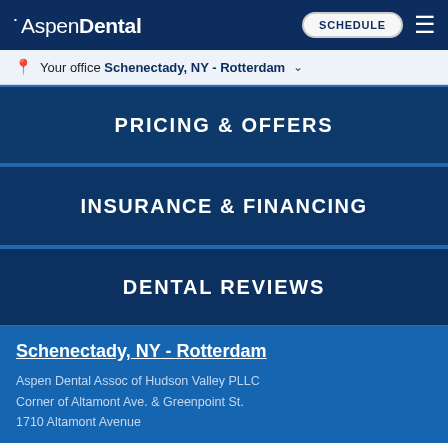AspenDental — SCHEDULE (button) — menu
Your office Schenectady, NY - Rotterdam
PRICING & OFFERS
INSURANCE & FINANCING
DENTAL REVIEWS
Schenectady, NY - Rotterdam
Aspen Dental Assoc of Hudson Valley PLLC
Corner of Altamont Ave. & Greenpoint St.
1710 Altamont Avenue